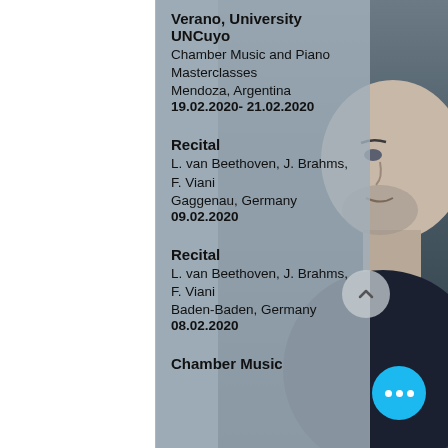Verano, University UNCuyo
Chamber Music and Piano Masterclasses
Mendoza, Argentina
19.02.2020- 21.02.2020
Recital
L. van Beethoven, J. Brahms, F. Viani
Gaggenau, Germany
09.02.2020
Recital
L. van Beethoven, J. Brahms, F. Viani
Baden-Baden, Germany
08.02.2020
Chamber Music